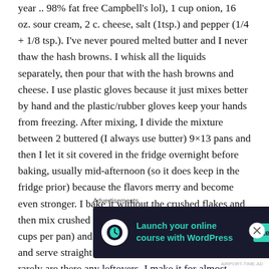year .. 98% fat free Campbell's lol), 1 cup onion, 16 oz. sour cream, 2 c. cheese, salt (1tsp.) and pepper (1/4 + 1/8 tsp.). I've never poured melted butter and I never thaw the hash browns. I whisk all the liquids separately, then pour that with the hash browns and cheese. I use plastic gloves because it just mixes better by hand and the plastic/rubber gloves keep your hands from freezing. After mixing, I divide the mixture between 2 buttered (I always use butter) 9×13 pans and then I let it sit covered in the fridge overnight before baking, usually mid-afternoon (so it does keep in the fridge prior) because the flavors merry and become even stronger. I bake it without the crushed flakes and then mix crushed flakes (I crush first, then measure 1.5 cups per pan) and butter, bake an additional 15 minutes and serve straight from the oven hot. Both pans go and rarely are there any leftovers. I make it for almost every major holiday. It's so yummy. When my
Advertisements
[Figure (other): Advertisement banner for launching an online course with WordPress. Dark navy background with teal icon, teal text reading 'Launch your online course with WordPress', and a teal 'Learn More' button.]